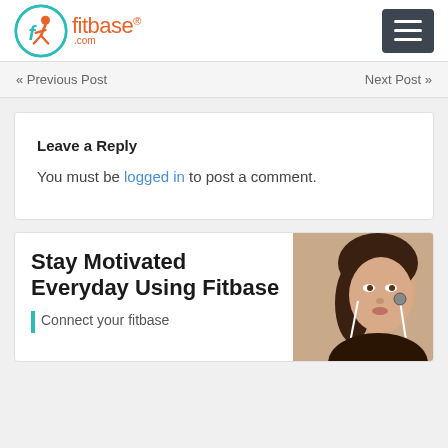fitbase® .com
« Previous Post   Next Post »
Leave a Reply
You must be logged in to post a comment.
Stay Motivated Everyday Using Fitbase
Connect your fitbase